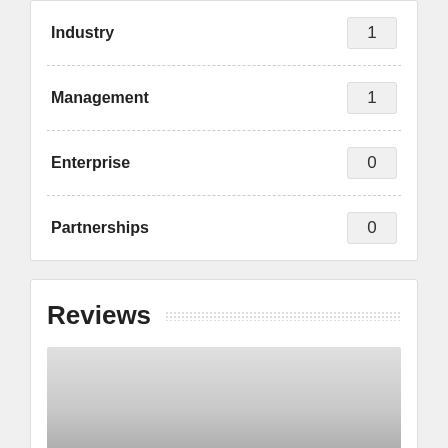Industry 1
Management 1
Enterprise 0
Partnerships 0
Reviews
[Figure (other): Gradient gray image area representing a reviews chart or screenshot placeholder with a red scroll bar on the right side]